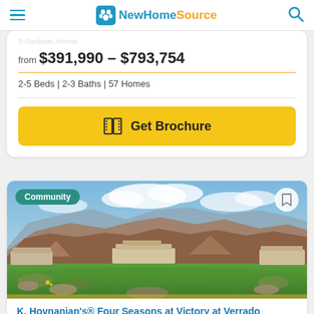NewHomeSource
from $391,990 - $793,754
2-5 Beds | 2-3 Baths | 57 Homes
Get Brochure
[Figure (photo): Exterior photo of K. Hovnanian's Four Seasons at Victory at Verrado community showing desert mountain landscape with green golf course and residential buildings]
K. Hovnanian's® Four Seasons at Victory at Verrado
by K. Hovnanian's® Four Seasons